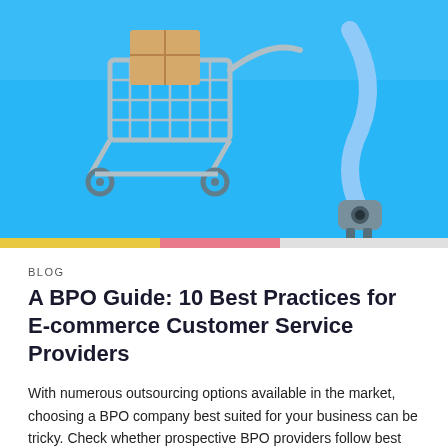[Figure (photo): Hero image of a miniature shopping cart and a plug/connector on a bright blue background, suggesting e-commerce theme.]
BLOG
A BPO Guide: 10 Best Practices for E-commerce Customer Service Providers
With numerous outsourcing options available in the market, choosing a BPO company best suited for your business can be tricky. Check whether prospective BPO providers follow best practices to filter your options and settle on the right one. And knowing